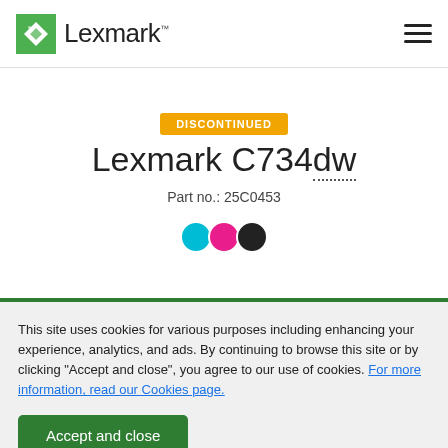[Figure (logo): Lexmark logo with green diamond icon and Lexmark wordmark with TM symbol]
DISCONTINUED
Lexmark C734dw
Part no.: 25C0453
[Figure (illustration): Three color dots: cyan, magenta, and black representing ink colors]
This site uses cookies for various purposes including enhancing your experience, analytics, and ads. By continuing to browse this site or by clicking "Accept and close", you agree to our use of cookies. For more information, read our Cookies page.
Accept and close